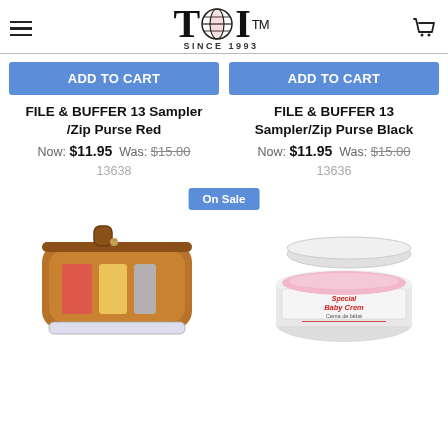TDI™ SINCE 1993
ADD TO CART
FILE & BUFFER 13 Sampler/Zip Purse Red
Now: $11.95  Was: $15.00
13638
ADD TO CART
FILE & BUFFER 13 Sampler/Zip Purse Black
Now: $11.95  Was: $15.00
13636
On Sale
[Figure (photo): Brown zip purse with nail files and buffers inside]
[Figure (photo): White open jar of pink cream/beauty product labeled with red text]